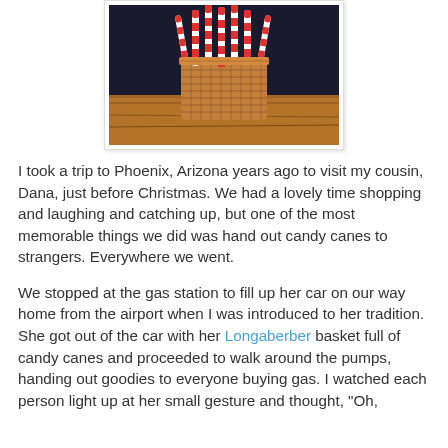[Figure (photo): A woven basket filled with candy canes, sitting on a wooden surface against a dark background. The candy canes have the classic red and white striped pattern.]
I took a trip to Phoenix, Arizona years ago to visit my cousin, Dana, just before Christmas.  We had a lovely time shopping and laughing and catching up, but one of the most memorable things we did was hand out candy canes to strangers.  Everywhere we went.
We stopped at the gas station to fill up her car on our way home from the airport when I was introduced to her tradition.  She got out of the car with her Longaberber basket full of candy canes and proceeded to walk around the pumps, handing out goodies to everyone buying gas.  I watched each person light up at her small gesture and thought, "Oh,